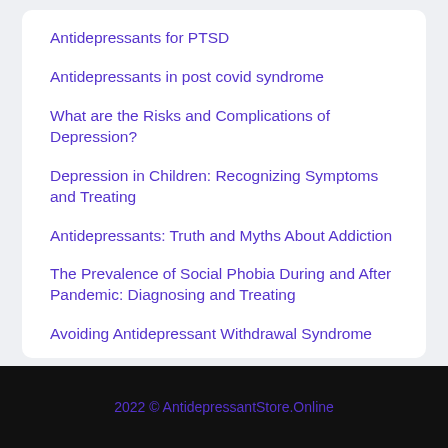Antidepressants for PTSD
Antidepressants in post covid syndrome
What are the Risks and Complications of Depression?
Depression in Children: Recognizing Symptoms and Treating
Antidepressants: Truth and Myths About Addiction
The Prevalence of Social Phobia During and After Pandemic: Diagnosing and Treating
Avoiding Antidepressant Withdrawal Syndrome
2022 © AntidepressantStore.Online